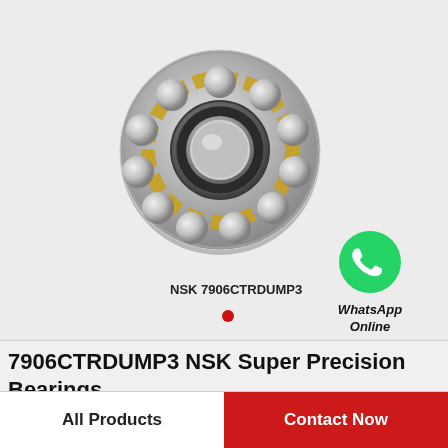[Figure (photo): NSK 7906CTRDUMP3 super precision angular contact ball bearing, showing metallic silver and gold cage structure with dark inner ring, viewed at slight angle]
NSK 7906CTRDUMP3
[Figure (logo): WhatsApp green circular icon with phone handset symbol, with text 'WhatsApp Online' below]
7906CTRDUMP3 NSK Super Precision Bearings
All Products
Contact Now